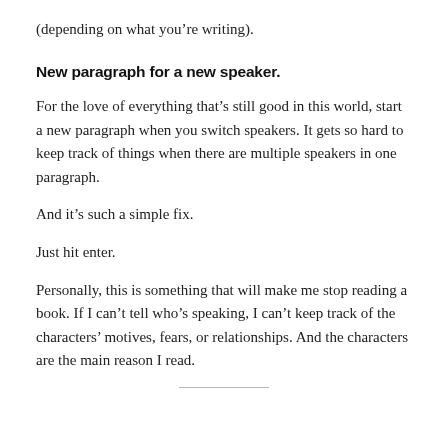(depending on what you’re writing).
New paragraph for a new speaker.
For the love of everything that’s still good in this world, start a new paragraph when you switch speakers. It gets so hard to keep track of things when there are multiple speakers in one paragraph.
And it’s such a simple fix.
Just hit enter.
Personally, this is something that will make me stop reading a book. If I can’t tell who’s speaking, I can’t keep track of the characters’ motives, fears, or relationships. And the characters are the main reason I read.